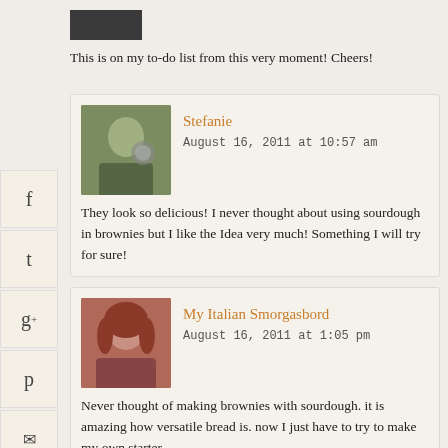[Figure (photo): Profile photo thumbnail at top of page (partially visible)]
This is on my to-do list from this very moment! Cheers!
[Figure (photo): Avatar photo of Stefanie holding a camera]
Stefanie
August 16, 2011 at 10:57 am
They look so delicious! I never thought about using sourdough in brownies but I like the Idea very much! Something I will try for sure!
[Figure (photo): Avatar photo of My Italian Smorgasbord commenter with red hair]
My Italian Smorgasbord
August 16, 2011 at 1:05 pm
Never thought of making brownies with sourdough. it is amazing how versatile bread is. now I just have to try to make my own starter…
[Figure (logo): etherwork.net logo with tree and horizontal lines icon]
Elizabeth
August 17, 2011 at 5:21 am
Yes!! All these questions really should have been answered in the article.